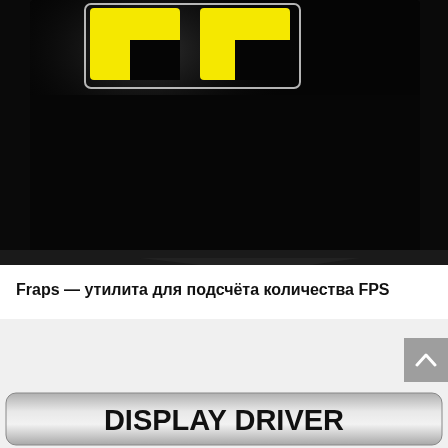[Figure (screenshot): Fraps application screenshot showing dark monitor with yellow FRAPS logo text on black screen]
Fraps — утилита для подсчёта количества FPS
[Figure (logo): Display Driver Uninstaller (DDU) banner logo with silver gradient background and bold black DISPLAY DRIVER text]
[Figure (screenshot): DDU application screenshot showing dark interface with large DDU letter logo]